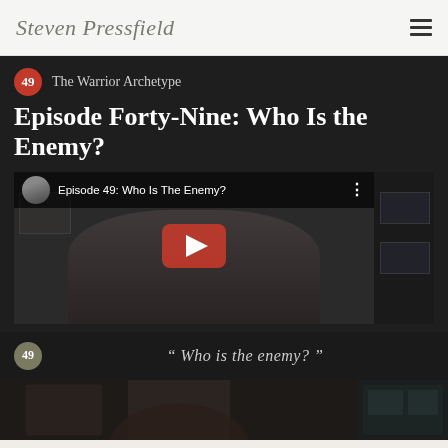Steven Pressfield
49 The Warrior Archetype
Episode Forty-Nine: Who Is the Enemy?
[Figure (screenshot): YouTube video embed showing Episode 49: Who Is The Enemy? with a man in a room, avatar icon, and red play button overlay]
“ Who is the enemy? ”
[Figure (photo): Bottom strip showing a partial dark photo scene]
If I had to pick the most fundamental...